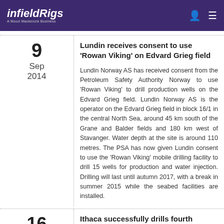infieldRigs — A Wood Mackenzie Business
Lundin receives consent to use 'Rowan Viking' on Edvard Grieg field
Lundin Norway AS has received consent from the Petroleum Safety Authority Norway to use 'Rowan Viking' to drill production wells on the Edvard Grieg field. Lundin Norway AS is the operator on the Edvard Grieg field in block 16/1 in the central North Sea, around 45 km south of the Grane and Balder fields and 180 km west of Stavanger. Water depth at the site is around 110 metres. The PSA has now given Lundin consent to use the 'Rowan Viking' mobile drilling facility to drill 15 wells for production and water injection. Drilling will last until autumn 2017, with a break in summer 2015 while the seabed facilities are installed.
Ithaca successfully drills fourth development well on Stella field
Ithaca Energy Inc (Ithaca) announces the